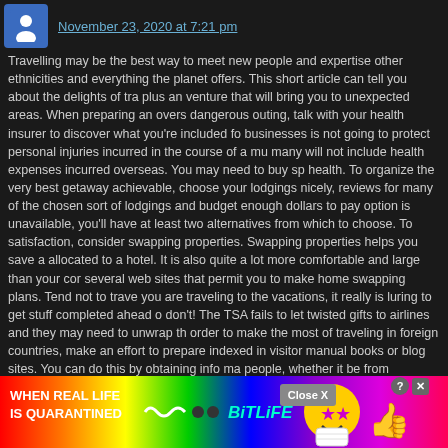November 23, 2020 at 7:21 pm
Travelling may be the best way to meet new people and expertise other ethnicities and everything the planet offers. This short article can tell you about the delights of travelling, plus an venture that will bring you to unexpected areas. When preparing an overseas dangerous outing, talk with your health insurer to discover what you're included for. Some businesses is not going to protect personal injuries incurred in the course of a multi-day trip, many will not include health expenses incurred overseas. You may need to buy special travel health. To organize the very best getaway achievable, choose your lodgings nicely. Research reviews for many of the chosen sort of lodgings and budget enough dollars to pay for your top option is unavailable, you'll have at least two alternatives from which to choose. To maximise satisfaction, consider swapping properties. Swapping properties helps you save a lot usually allocated to a hotel. It is also quite a lot more comfortable and large than your common hotel. There several web sites that permit you to make home swapping plans. Tend not to travel with gifts. When you are traveling to the vacations, it really is luring to get stuff completed ahead of time and wrap everything, don't! The TSA fails to let twisted gifts to airlines and they may need to unwrap the presents. In order to make the most of traveling in foreign countries, make an effort to prepare activities that aren't indexed in visitor manual books or blog sites. You can do this by obtaining info made for and made by locals or other people, whether it be from magazines, blogs and forums or men and women on travel message boards. Getting out of the vacationer bubble can certainly make your vacation very much far more interesting and fun. When traveling with a dog, do not forget that most family pet supplies are better acquired at the destination. If of course your pet dog is with a particular diet program, getting a bag of dog food is much simpler than seeking to move it. Bowls and other items are identical way. If you are travelling with small children, units you could use inside of your garments or sew straightforward pockets into the inside of your family group. When you can not sew, request somebody that can to happen to suit your needs, or visit a tailor or seamstress, and request they sew an inside wallet to suit your needs. This protects from theft detection, someone st budget. S ucate your m buy your tend on usin
[Figure (infographic): Advertisement banner: rainbow gradient background with text WHEN REAL LIFE IS QUARANTINED, BitLife logo with emoji characters, close button and help/X buttons]